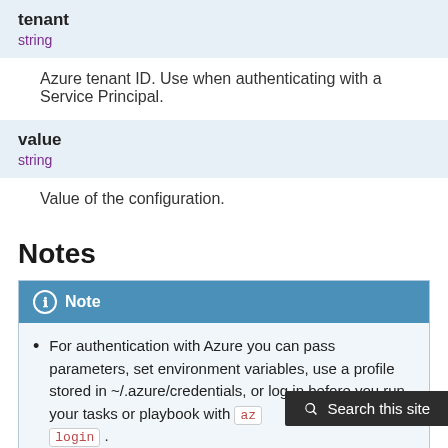tenant
string
Azure tenant ID. Use when authenticating with a Service Principal.
value
string
Value of the configuration.
Notes
Note
For authentication with Azure you can pass parameters, set environment variables, use a profile stored in ~/.azure/credentials, or log in before you run your tasks or playbook with az login .
Authentication is also possible using a service